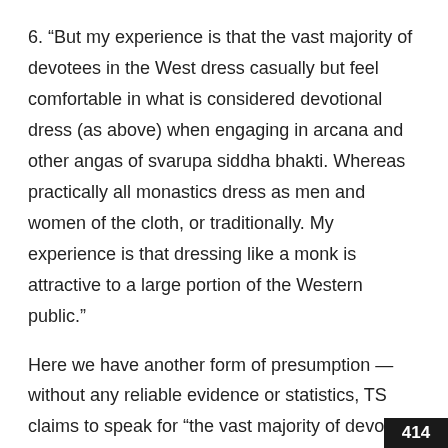6. “But my experience is that the vast majority of devotees in the West dress casually but feel comfortable in what is considered devotional dress (as above) when engaging in arcana and other angas of svarupa siddha bhakti. Whereas practically all monastics dress as men and women of the cloth, or traditionally. My experience is that dressing like a monk is attractive to a large portion of the Western public.”
Here we have another form of presumption — without any reliable evidence or statistics, TS claims to speak for “the vast majority of devotees in the West.” Since many thousands of Western devotees support Krishna West (I receive letters from them every day), there must be hundreds of thousands of Western devotes if the vast
414